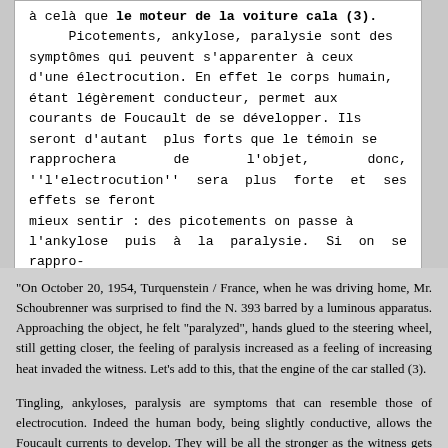à celà que le moteur de la voiture cala (3). Picotements, ankylose, paralysie sont des symptômes qui peuvent s'apparenter à ceux d'une électrocution. En effet le corps humain, étant légèrement conducteur, permet aux courants de Foucault de se développer. Ils seront d'autant plus forts que le témoin se rapprochera de l'objet, donc, ''l'electrocution'' sera plus forte et ses effets se feront mieux sentir : des picotements on passe à l'ankylose puis à la paralysie. Si on se rapproche davantage, la dissipation thermique des courants devient perceptible. A noter aussi, dans ces deux exemples, l'arrêt du moteur des
"On October 20, 1954, Turquenstein / France, when he was driving home, Mr. Schoubrenner was surprised to find the N. 393 barred by a luminous apparatus. Approaching the object, he felt "paralyzed", hands glued to the steering wheel, still getting closer, the feeling of paralysis increased as a feeling of increasing heat invaded the witness. Let's add to this, that the engine of the car stalled (3).
Tingling, ankyloses, paralysis are symptoms that can resemble those of electrocution. Indeed the human body, being slightly conductive, allows the Foucault currents to develop. They will be all the stronger as the witness gets closer to the object, so "electrocution" will be stronger and its effects will be better felt: tingling goes to ankyloses and paralysis. If one gets closer, the heat dissipation of the currents becomes noticeable. Note also, in these